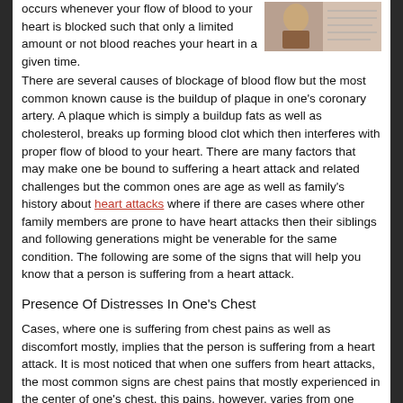occurs whenever your flow of blood to your heart is blocked such that only a limited amount or not blood reaches your heart in a given time.
[Figure (photo): Photo of a person, likely related to heart health topic]
There are several causes of blockage of blood flow but the most common known cause is the buildup of plaque in one's coronary artery. A plaque which is simply a buildup fats as well as cholesterol, breaks up forming blood clot which then interferes with proper flow of blood to your heart. There are many factors that may make one be bound to suffering a heart attack and related challenges but the common ones are age as well as family's history about heart attacks where if there are cases where other family members are prone to have heart attacks then their siblings and following generations might be venerable for the same condition. The following are some of the signs that will help you know that a person is suffering from a heart attack.
Presence Of Distresses In One's Chest
Cases, where one is suffering from chest pains as well as discomfort mostly, implies that the person is suffering from a heart attack. It is most noticed that when one suffers from heart attacks, the most common signs are chest pains that mostly experienced in the center of one's chest, this pains, however, varies from one person to the other. Several people suffering from heart attack have said that these chest pains at times will come and go and if they happen to return then they are more intense and more irritating than before and therefore that the need of seeking a doctors attention as